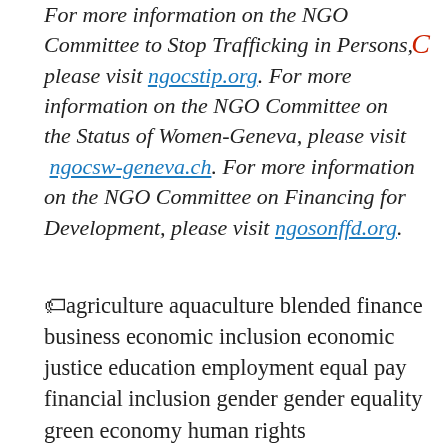For more information on the NGO Committee to Stop Trafficking in Persons, please visit ngocstip.org. For more information on the NGO Committee on the Status of Women-Geneva, please visit ngocsw-geneva.ch. For more information on the NGO Committee on Financing for Development, please visit ngosonffd.org.
agriculture aquaculture blended finance business economic inclusion economic justice education employment equal pay financial inclusion gender gender equality green economy human rights humanitarian law india informal sector international affairs jobs living wages media multilateralism poverty private sector rural women and girls SDG5 SDGs social equity tax abuse UNHLPF2022 unpaid